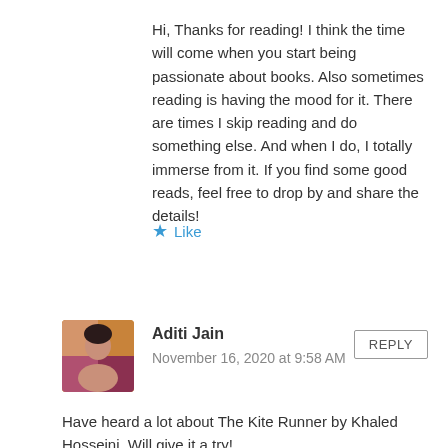Hi, Thanks for reading! I think the time will come when you start being passionate about books. Also sometimes reading is having the mood for it. There are times I skip reading and do something else. And when I do, I totally immerse from it. If you find some good reads, feel free to drop by and share the details!
★ Like
Aditi Jain
November 16, 2020 at 9:58 AM
REPLY
Have heard a lot about The Kite Runner by Khaled Hosseini. Will give it a try!